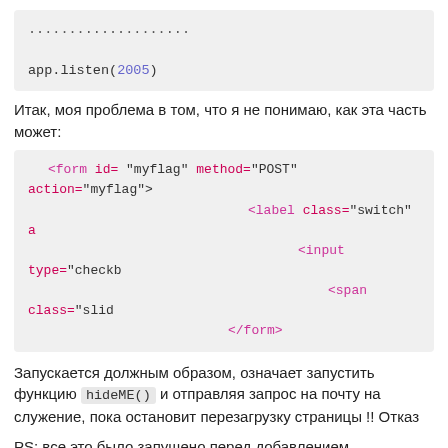..................
app.listen(2005)
Итак, моя проблема в том, что я не понимаю, как эта часть может:
<form id= "myflag" method="POST" action="myflag">
                            <label class="switch" a
                                <input type="checkb
                                    <span class="slid
                            </form>
Запускается должным образом, означает запустить функцию hideME() и отправляя запрос на почту на служение, пока остановит перезагрузку страницы !! Отказ
PS: все это было запущено перед добавлением упомянутой формы!
Заранее спасибо!
Обновить